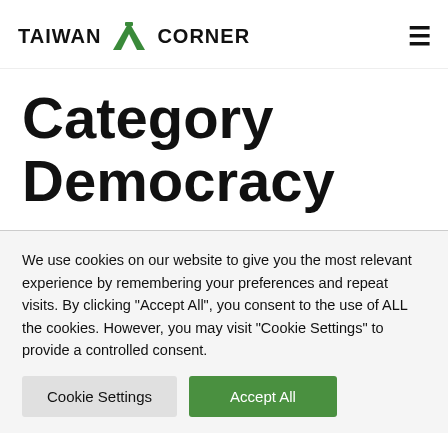TAIWAN CORNER
Category Democracy
We use cookies on our website to give you the most relevant experience by remembering your preferences and repeat visits. By clicking "Accept All", you consent to the use of ALL the cookies. However, you may visit "Cookie Settings" to provide a controlled consent.